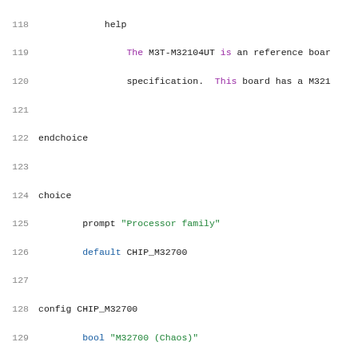[Figure (screenshot): Source code listing showing Kconfig file lines 118-139 with syntax highlighting. Keywords in blue/purple, string literals in green, identifiers in default color.]